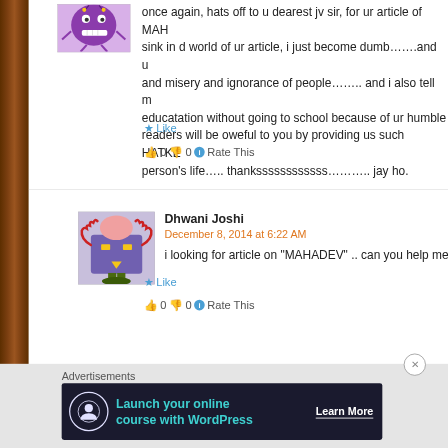once again, hats off to u dearest jv sir, for ur article of MAH... sink in d world of ur article, i just become dumb…….and u... and misery and ignorance of people…….. and i also tell m... educatation without going to school because of ur humble... readers will be oweful to you by providing us such HATKE... person's life….. thankssssssssssss……….. jay ho.
Like
👍 0 👎 0 ℹ Rate This
Dhwani Joshi
December 8, 2014 at 6:22 AM
i looking for article on "MAHADEV" .. can you help me
Like
👍 0 👎 0 ℹ Rate This
Advertisements
[Figure (infographic): Advertisement banner: dark navy background with circular icon on left, teal text 'Launch your online course with WordPress', and 'Learn More' button on right]